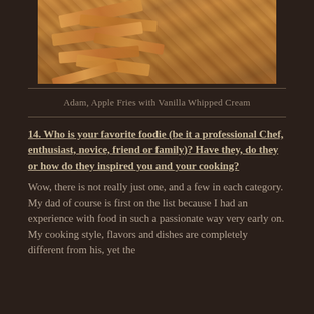[Figure (photo): Close-up photo of breaded apple fries, golden-brown strips arranged in a pile]
Adam, Apple Fries with Vanilla Whipped Cream
14. Who is your favorite foodie (be it a professional Chef, enthusiast, novice, friend or family)? Have they, do they or how do they inspired you and your cooking?
Wow, there is not really just one, and a few in each category. My dad of course is first on the list because I had an experience with food in such a passionate way very early on. My cooking style, flavors and dishes are completely different from his, yet the